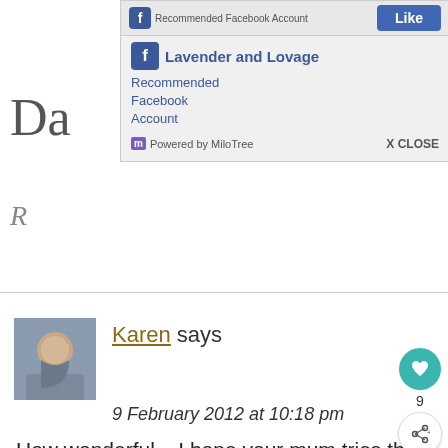[Figure (screenshot): MiloTree popup widget showing a recommended Facebook account for 'Lavender and Lovage' with a Like button and Powered by MiloTree footer with X CLOSE option]
Karen says
9 February 2012 at 10:18 pm
How wonderful – I hope your mum tries this marmalade recipe out with her home-grown lemons!
Reply